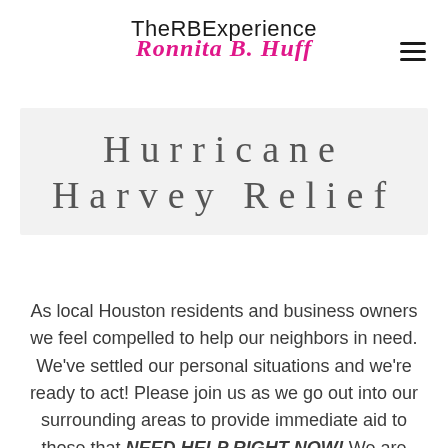TheRBExperience Ronnita B. Huff
Hurricane Harvey Relief
As local Houston residents and business owners we feel compelled to help our neighbors in need. We've settled our personal situations and we're ready to act! Please join us as we go out into our surrounding areas to provide immediate aid to those that NEED HELP RIGHT NOW! We are collecting supplies and